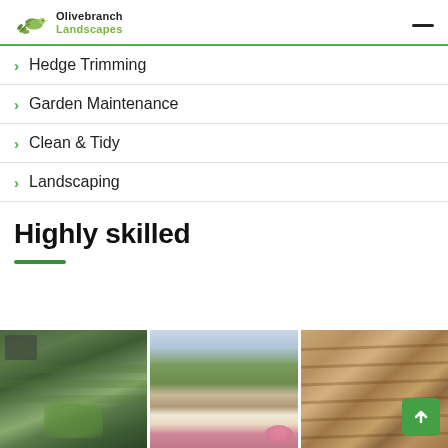[Figure (logo): Olivebranch Landscapes logo with dove/leaf icon]
Hedge Trimming
Garden Maintenance
Clean & Tidy
Landscaping
Highly skilled
[Figure (photo): Three landscape photos: manicured lawn garden, courtyard with flowers, wooden decking]